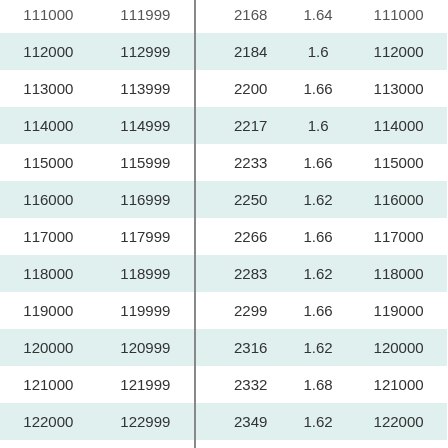| From | To |  | Amount | Rate | Code |
| --- | --- | --- | --- | --- | --- |
| 111000 | 111999 |  | 2168 | 1.64 | 111000 |
| 112000 | 112999 |  | 2184 | 1.6 | 112000 |
| 113000 | 113999 |  | 2200 | 1.66 | 113000 |
| 114000 | 114999 |  | 2217 | 1.6 | 114000 |
| 115000 | 115999 |  | 2233 | 1.66 | 115000 |
| 116000 | 116999 |  | 2250 | 1.62 | 116000 |
| 117000 | 117999 |  | 2266 | 1.66 | 117000 |
| 118000 | 118999 |  | 2283 | 1.62 | 118000 |
| 119000 | 119999 |  | 2299 | 1.66 | 119000 |
| 120000 | 120999 |  | 2316 | 1.62 | 120000 |
| 121000 | 121999 |  | 2332 | 1.68 | 121000 |
| 122000 | 122999 |  | 2349 | 1.62 | 122000 |
| 123000 | 123999 |  | 2365 | 1.62 | 123000 |